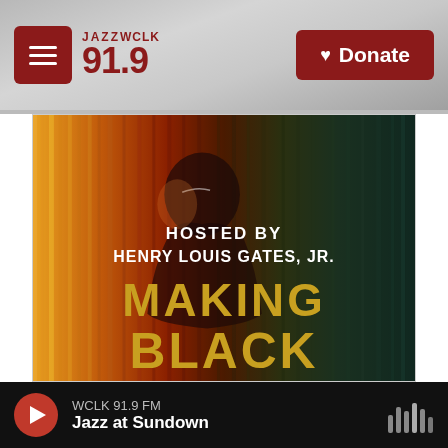JAZZ WCLK 91.9 | Donate
[Figure (photo): Promotional image for 'Making Black...' documentary, hosted by Henry Louis Gates, Jr. The image shows an artistic painted figure in warm red, orange and gold tones with text overlay reading 'HOSTED BY HENRY LOUIS GATES, JR.' and 'MAKING BLACK' in large gold letters.]
WCLK 91.9 FM | Jazz at Sundown